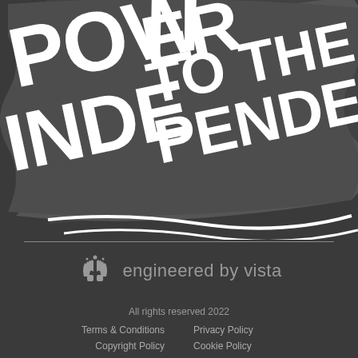[Figure (illustration): Waving flag banner with bold white text on dark background reading 'POWER TO THE INDEPENDENTS' in large stylized lettering]
[Figure (logo): Engineered by Vista logo: stylized hands icon in gray followed by text 'engineered by vista' in gray sans-serif font]
All rights reserved 2022
Terms & Conditions
Privacy Policy
Copyright Policy
Cookie Policy
Website Terms of Use